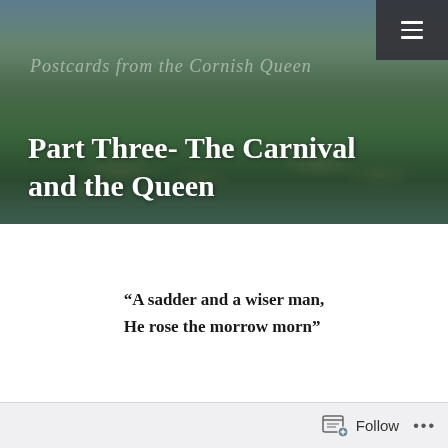[Figure (photo): Wetland or pond scene with lily pads, reeds, and green vegetation reflecting on calm water, with a misty treeline in the background. A dark navigation bar with a hamburger menu icon is in the top-right corner.]
Postcards from the Cornish Queen
Part Three- The Carnival and the Queen
“A sadder and a wiser man,
He rose the morrow morn”
Follow ...